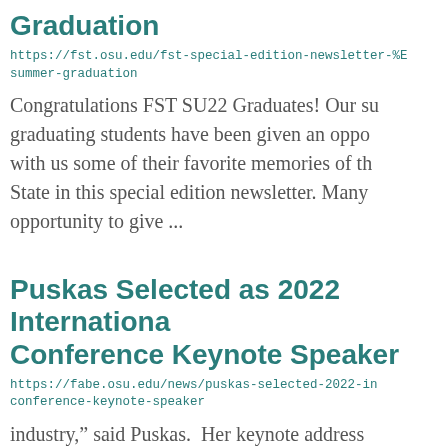Graduation
https://fst.osu.edu/fst-special-edition-newsletter-%E2%80%A6summer-graduation
Congratulations FST SU22 Graduates! Our su graduating students have been given an oppo with us some of their favorite memories of th State in this special edition newsletter. Many opportunity to give ...
Puskas Selected as 2022 International Conference Keynote Speaker
https://fabe.osu.edu/news/puskas-selected-2022-in conference-keynote-speaker
industry," said Puskas.  Her keynote address "Natural Rubber – a Wonderful Renewable R